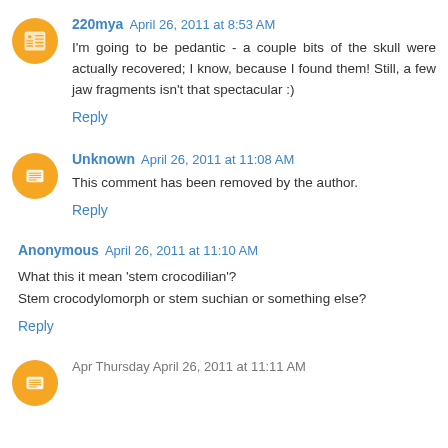220mya April 26, 2011 at 8:53 AM
I'm going to be pedantic - a couple bits of the skull were actually recovered; I know, because I found them! Still, a few jaw fragments isn't that spectacular :)
Reply
Unknown April 26, 2011 at 11:08 AM
This comment has been removed by the author.
Reply
Anonymous April 26, 2011 at 11:10 AM
What this it mean 'stem crocodilian'?
Stem crocodylomorph or stem suchian or something else?
Reply
Apr Thursday April 26, 2011 at 11:11 AM